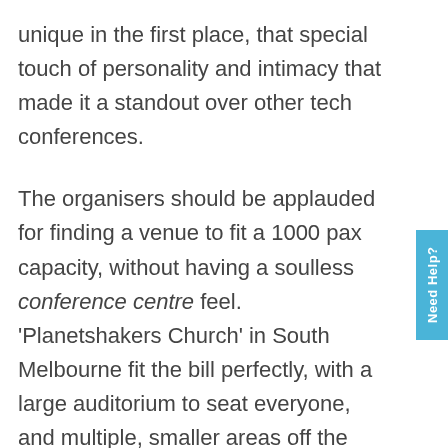unique in the first place, that special touch of personality and intimacy that made it a standout over other tech conferences.
The organisers should be applauded for finding a venue to fit a 1000 pax capacity, without having a soulless conference centre feel. 'Planetshakers Church' in South Melbourne fit the bill perfectly, with a large auditorium to seat everyone, and multiple, smaller areas off the main room, housing various points of interest to explore. There were crowding issues through some bottlenecks, at lunch and break times, otherwise there was plenty of room to mingle